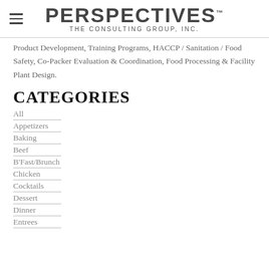PERSPECTIVES. THE CONSULTING GROUP, INC.
Product Development, Training Programs, HACCP / Sanitation / Food Safety, Co-Packer Evaluation & Coordination, Food Processing & Facility Plant Design.
CATEGORIES
All
Appetizers
Baking
Beef
B'Fast/Brunch
Chicken
Cocktails
Dessert
Dinner
Entrees